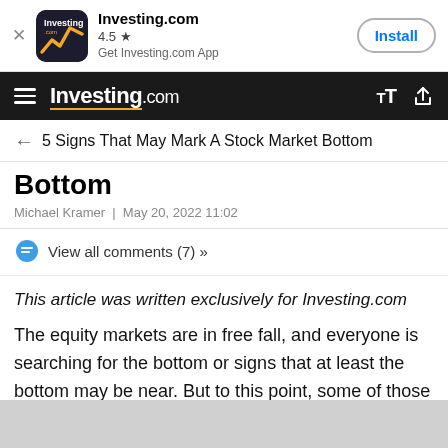[Figure (logo): Investing.com app install banner with app icon, 4.5 star rating, and Install button]
[Figure (logo): Investing.com navigation bar with hamburger menu, logo, text size and share icons]
5 Signs That May Mark A Stock Market Bottom
Bottom
Michael Kramer  |  May 20, 2022 11:02
View all comments (7) »
This article was written exclusively for Investing.com
The equity markets are in free fall, and everyone is searching for the bottom or signs that at least the bottom may be near. But to this point, some of those classic indicators have yet to show any signs of a